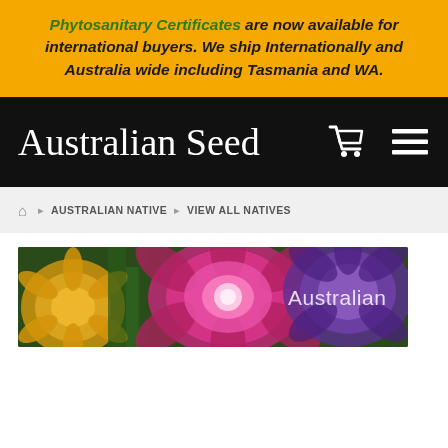Phytosanitary Certificates are now available for international buyers. We ship Internationally and Australia wide including Tasmania and WA.
Australian Seed
HOME > AUSTRALIAN NATIVE > VIEW ALL NATIVES
[Figure (photo): Banner image showing colorful Australian native flowers including yellow, pink, and purple blooms with 'Australian' text overlay on right side]